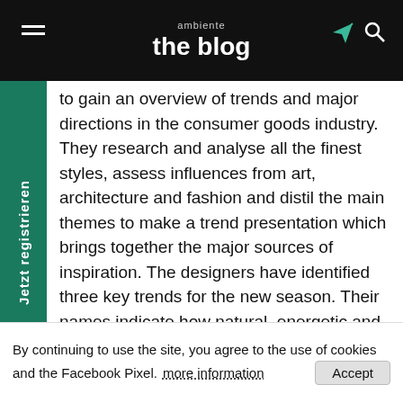ambiente the blog
to gain an overview of trends and major directions in the consumer goods industry. They research and analyse all the finest styles, assess influences from art, architecture and fashion and distil the main themes to make a trend presentation which brings together the major sources of inspiration. The designers have identified three key trends for the new season. Their names indicate how natural, energetic and individual they are: Tasteful Residence. Quiet Surrounding. Joyfilled Ambience.
our mood charts show deep colours, many shades of red, and soft, handcrafted materials that look just right for cosy nights in. Do these trends reflect a big demand for comfort and craft, for slow living?
By continuing to use the site, you agree to the use of cookies and the Facebook Pixel.  more information  Accept